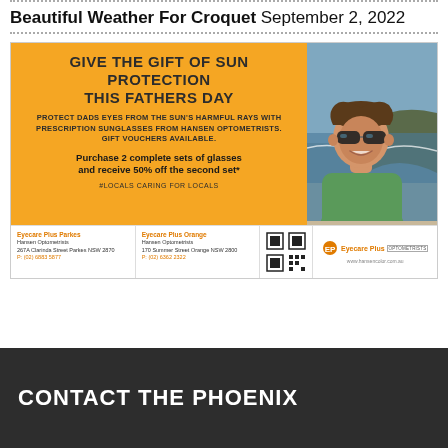Beautiful Weather For Croquet September 2, 2022
[Figure (infographic): Advertisement for Eyecare Plus / Hansen Optometrists: orange background with 'GIVE THE GIFT OF SUN PROTECTION THIS FATHERS DAY', promotional text about prescription sunglasses and gift vouchers, '2 complete sets of glasses and receive 50% off the second set*', '#LOCALS CARING FOR LOCALS', plus footer with two store locations (Parkes and Orange), QR code, and Eyecare Plus logo. Photo of smiling man wearing sunglasses outdoors.]
CONTACT THE PHOENIX